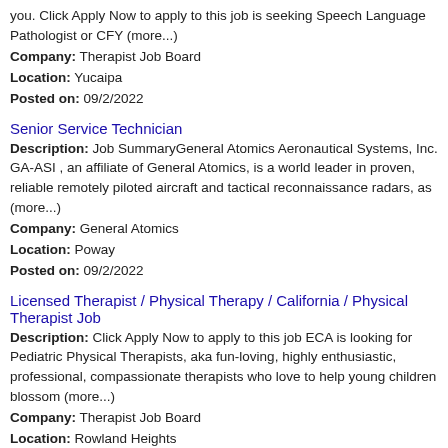you. Click Apply Now to apply to this job is seeking Speech Language Pathologist or CFY (more...)
Company: Therapist Job Board
Location: Yucaipa
Posted on: 09/2/2022
Senior Service Technician
Description: Job SummaryGeneral Atomics Aeronautical Systems, Inc. GA-ASI , an affiliate of General Atomics, is a world leader in proven, reliable remotely piloted aircraft and tactical reconnaissance radars, as (more...)
Company: General Atomics
Location: Poway
Posted on: 09/2/2022
Licensed Therapist / Physical Therapy / California / Physical Therapist Job
Description: Click Apply Now to apply to this job ECA is looking for Pediatric Physical Therapists, aka fun-loving, highly enthusiastic, professional, compassionate therapists who love to help young children blossom (more...)
Company: Therapist Job Board
Location: Rowland Heights
Posted on: 09/2/2022